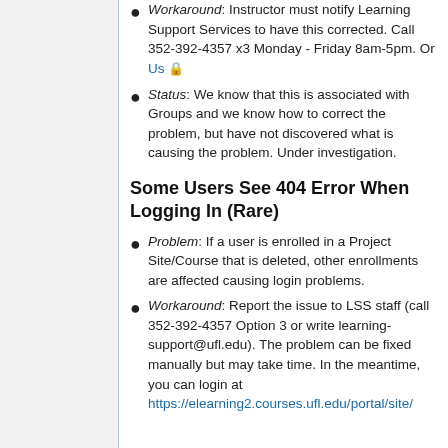Workaround: Instructor must notify Learning Support Services to have this corrected. Call 352-392-4357 x3 Monday - Friday 8am-5pm. Or Us 🔒
Status: We know that this is associated with Groups and we know how to correct the problem, but have not discovered what is causing the problem. Under investigation.
Some Users See 404 Error When Logging In (Rare)
Problem: If a user is enrolled in a Project Site/Course that is deleted, other enrollments are affected causing login problems.
Workaround: Report the issue to LSS staff (call 352-392-4357 Option 3 or write learning-support@ufl.edu). The problem can be fixed manually but may take time. In the meantime, you can login at https://elearning2.courses.ufl.edu/portal/site/